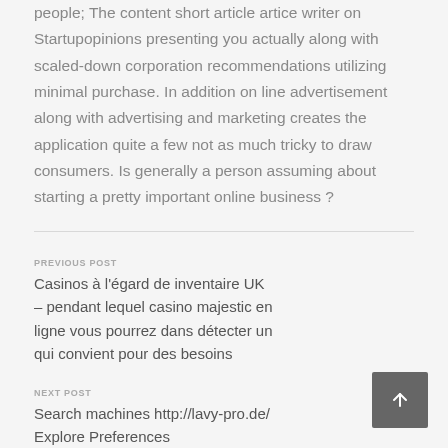people; The content short article artice writer on Startupopinions presenting you actually along with scaled-down corporation recommendations utilizing minimal purchase. In addition on line advertisement along with advertising and marketing creates the application quite a few not as much tricky to draw consumers. Is generally a person assuming about starting a pretty important online business ?
PREVIOUS POST
Casinos à l'égard de inventaire UK – pendant lequel casino majestic en ligne vous pourrez dans détecter un qui convient pour des besoins
NEXT POST
Search machines http://lavy-pro.de/ Explore Preferences